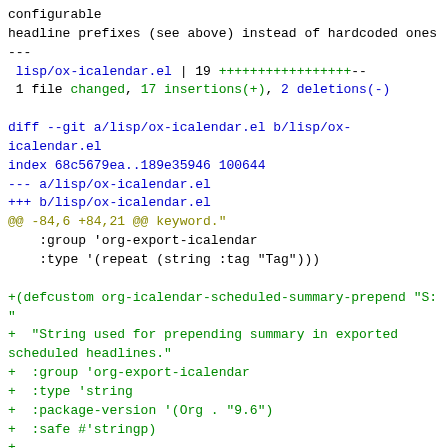configurable
headline prefixes (see above) instead of hardcoded ones
---
 lisp/ox-icalendar.el | 19 +++++++++++++++++--
 1 file changed, 17 insertions(+), 2 deletions(-)

diff --git a/lisp/ox-icalendar.el b/lisp/ox-
icalendar.el
index 68c5679ea..189e35946 100644
--- a/lisp/ox-icalendar.el
+++ b/lisp/ox-icalendar.el
@@ -84,6 +84,21 @@ keyword."
    :group 'org-export-icalendar
    :type '(repeat (string :tag "Tag"))

+(defcustom org-icalendar-scheduled-summary-prepend "S:
"
+  "String used for prepending summary in exported
scheduled headlines."
+  :group 'org-export-icalendar
+  :type 'string
+  :package-version '(Org . "9.6")
+  :safe #'stringp)
+
+
+(defcustom org-icalendar-deadline-summary-prepend "DL:
"
+  "String used for prepending summary in exported
deadlines."
+  :group 'org-export-icalendar
+  :type 'string